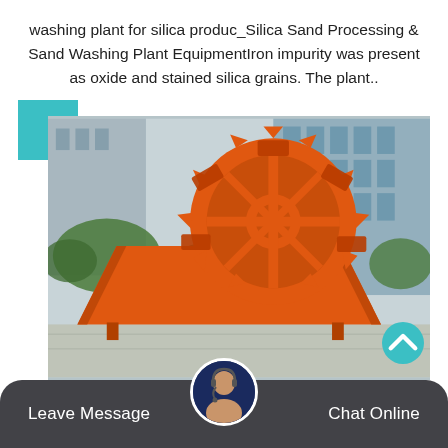washing plant for silica produc_Silica Sand Processing & Sand Washing Plant EquipmentIron impurity was present as oxide and stained silica grains. The plant..
[Figure (photo): Large orange industrial sand washing machine with a wheel/bucket elevator mechanism, sitting in an outdoor yard with trees and a glass building in the background. A teal decorative square overlaps the top-left corner of the photo.]
Leave Message   Chat Online